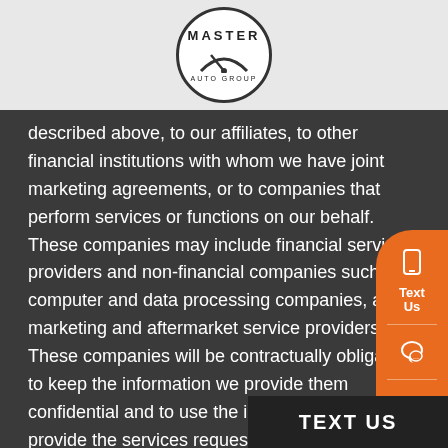[Figure (logo): Master Auto Group logo: circular emblem with speedometer/gauge icon and text 'MASTER AUTO GROUP']
described above, to our affiliates, to other financial institutions with whom we have joint marketing agreements, or to companies that perform services or functions on our behalf. These companies may include financial service providers and non-financial companies such as computer and data processing companies, and marketing and aftermarket service providers. These companies will be contractually obligated to keep the information we provide them confidential and to use the information only to provide the services requested of them. We observe limits and restrictions set by law as to sharing of information with our affiliates or others.
3. We may disclose nonpublic, personal information about you as a consumer, customer or former customer, to nonaffiliated third parties as permitted